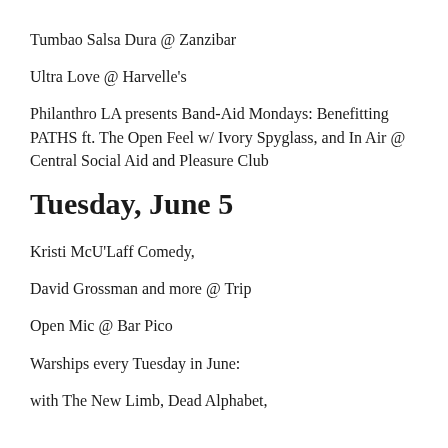Tumbao Salsa Dura @ Zanzibar
Ultra Love @ Harvelle's
Philanthro LA presents Band-Aid Mondays: Benefitting PATHS ft. The Open Feel w/ Ivory Spyglass, and In Air @ Central Social Aid and Pleasure Club
Tuesday, June 5
Kristi McU'Laff Comedy,
David Grossman and more @ Trip
Open Mic @ Bar Pico
Warships every Tuesday in June:
with The New Limb, Dead Alphabet,